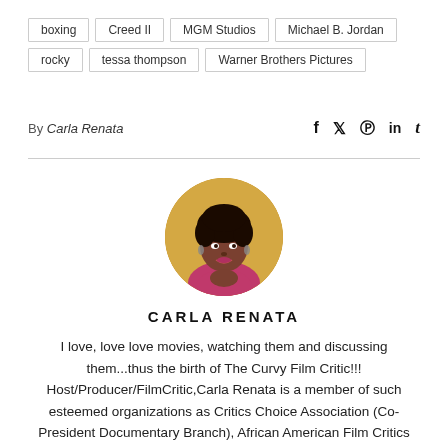boxing
Creed II
MGM Studios
Michael B. Jordan
rocky
tessa thompson
Warner Brothers Pictures
By Carla Renata
[Figure (photo): Circular portrait photo of Carla Renata, a woman with natural curly hair wearing a pink/magenta top, posed against a yellow background.]
CARLA RENATA
I love, love love movies, watching them and discussing them...thus the birth of The Curvy Film Critic!!! Host/Producer/FilmCritic,Carla Renata is a member of such esteemed organizations as Critics Choice Association (Co-President Documentary Branch), African American Film Critics Association, Online Association of Female Film Critics